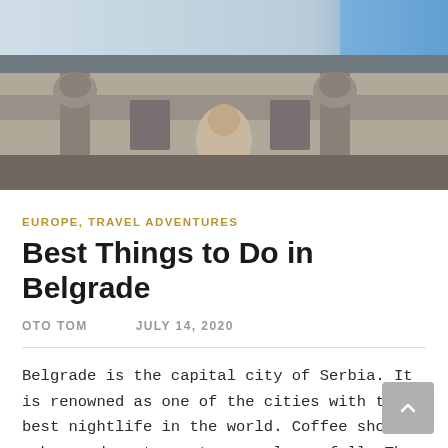[Figure (photo): Architectural photo of a historic building facade with stone sculptures and ornamental details, blue sky partially visible in upper right corner.]
EUROPE, TRAVEL ADVENTURES
Best Things to Do in Belgrade
OTO TOM    JULY 14, 2020
Belgrade is the capital city of Serbia. It is renowned as one of the cities with the best nightlife in the world. Coffee shops, pubs, and restaurants are always full. They have the right energy.